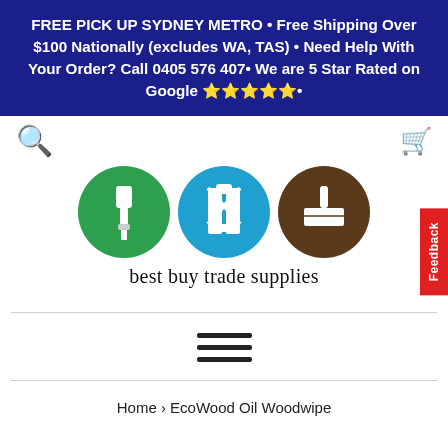FREE PICK UP SYDNEY METRO • Free Shipping Over $100 Nationally (excludes WA, TAS) • Need Help With Your Order? Call 0405 576 407• We are 5 Star Rated on Google ⭐⭐⭐⭐⭐•
[Figure (logo): Best Buy Trade Supplies logo: three circles (green with paint brush, blue with safety vest, brown with plastering knife) with text 'best buy trade supplies' below]
Home › EcoWood Oil Woodwipe